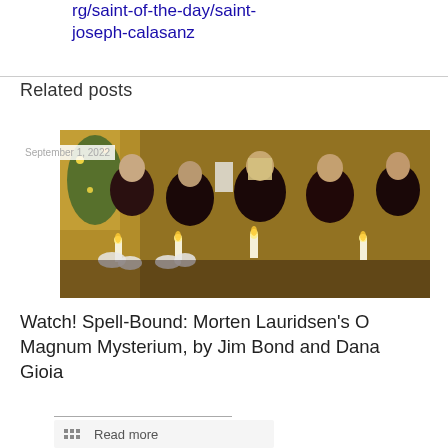rg/saint-of-the-day/saint-joseph-calasanz
Related posts
September 1, 2022
[Figure (photo): A choir group dressed in dark red/maroon attire holding candles, photographed indoors with a decorated Christmas tree in the background.]
Watch! Spell-Bound: Morten Lauridsen's O Magnum Mysterium, by Jim Bond and Dana Gioia
Read more